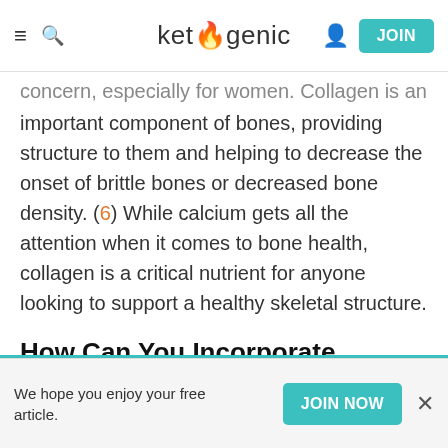≡ 🔍  ketogenic  👤  JOIN
concern, especially for women. Collagen is an important component of bones, providing structure to them and helping to decrease the onset of brittle bones or decreased bone density. (6) While calcium gets all the attention when it comes to bone health, collagen is a critical nutrient for anyone looking to support a healthy skeletal structure.
How Can You Incorporate Collagen Into Your Diet?
Collagen is one of the easiest supplements to
We hope you enjoy your free article.  JOIN NOW  ×